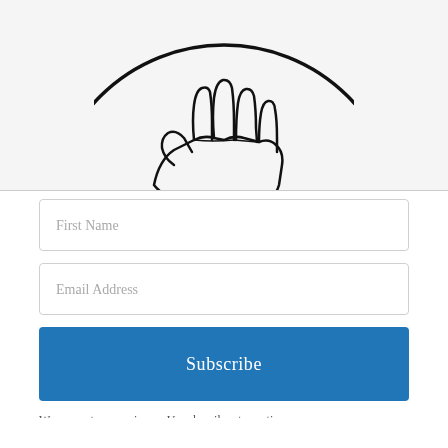[Figure (illustration): A circular line-art logo showing a hand with fingers outstretched, partially cropped at top, black outline on white/light gray background]
First Name
Email Address
Subscribe
We respect your privacy. Unsubscribe at any time.